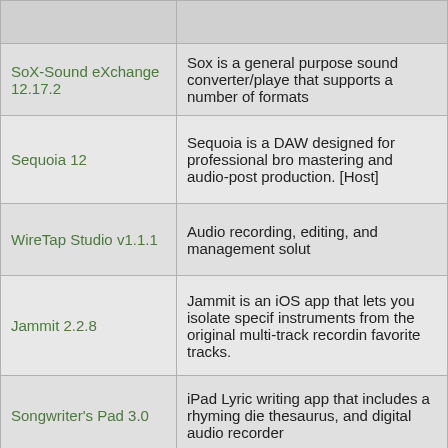| Name | Description |
| --- | --- |
|  |  |
| SoX-Sound eXchange 12.17.2 | Sox is a general purpose sound converter/player that supports a number of formats |
| Sequoia 12 | Sequoia is a DAW designed for professional bro mastering and audio-post production. [Host] |
| WireTap Studio v1.1.1 | Audio recording, editing, and management solut |
| Jammit 2.2.8 | Jammit is an iOS app that lets you isolate specif instruments from the original multi-track recordin favorite tracks. |
| Songwriter's Pad 3.0 | iPad Lyric writing app that includes a rhyming di thesaurus, and digital audio recorder |
| Sound Studio 4.8 | Audio recording and editing tool with automators |